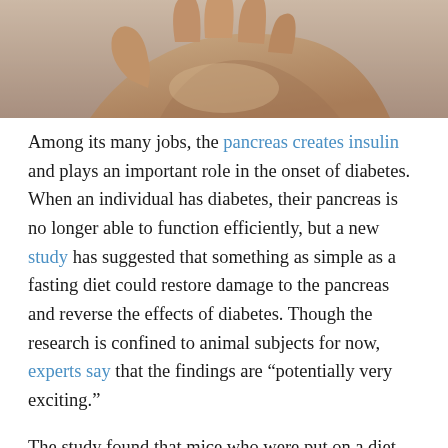[Figure (photo): Close-up sepia-toned photograph of an open human hand, palm upward, against a blurred background.]
Among its many jobs, the pancreas creates insulin and plays an important role in the onset of diabetes. When an individual has diabetes, their pancreas is no longer able to function efficiently, but a new study has suggested that something as simple as a fasting diet could restore damage to the pancreas and reverse the effects of diabetes. Though the research is confined to animal subjects for now, experts say that the findings are “potentially very exciting.”
The study found that mice who were put on a diet that mimicked fasting showed regeneration of a special type